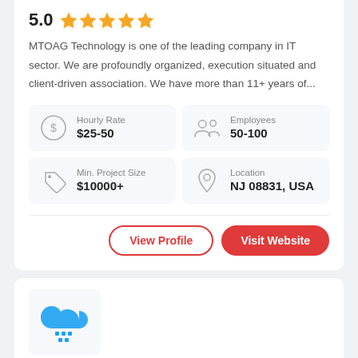5.0 (5 stars)
MTOAG Technology is one of the leading company in IT sector. We are profoundly organized, execution situated and client-driven association. We have more than 11+ years of...
Hourly Rate
$25-50
Employees
50-100
Min. Project Size
$10000+
Location
NJ 08831, USA
View Profile
Visit Website
[Figure (logo): Cloudester Software LLP cloud logo — blue cloud icon with blue pixel/network dots below]
Cloudester Software LLP